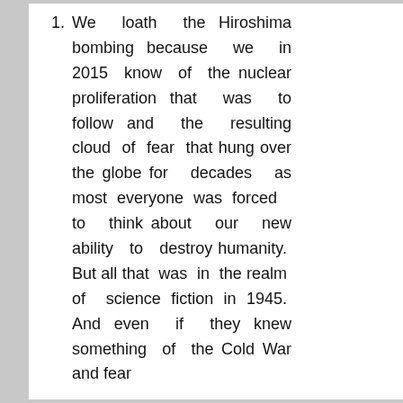We loath the Hiroshima bombing because we in 2015 know of the nuclear proliferation that was to follow and the resulting cloud of fear that hung over the globe for decades as most everyone was forced to think about our new ability to destroy humanity. But all that was in the realm of science fiction in 1945. And even if they knew something of the Cold War and fear